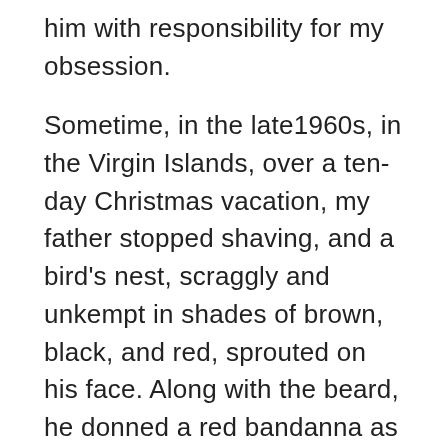him with responsibility for my obsession.
Sometime, in the late1960s, in the Virgin Islands, over a ten-day Christmas vacation, my father stopped shaving, and a bird's nest, scraggly and unkempt in shades of brown, black, and red, sprouted on his face. Along with the beard, he donned a red bandanna as a headband, drank a lot of rum, and read Carlos Castaneda novels. Each morning, he arrived late at breakfast. Days he spent alone on the beach sipping rum—an about-face for someone who rarely drank, and then only a single sugary cocktail when dining with friends.
His Castaneda phase ended as quickly as it